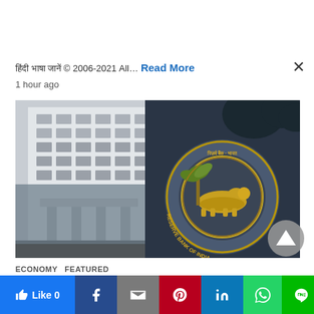हिंदी भाषा जानें © 2006-2021 All… Read More
1 hour ago
[Figure (photo): Reserve Bank of India building exterior with the RBI emblem/seal showing a tiger and palm tree with text 'Reserve Bank of India' in English and Hindi]
ECONOMY  FEATURED
[Figure (infographic): Social sharing bar with Like, Facebook, Gmail, Pinterest, LinkedIn, WhatsApp, LINE, and Telegram buttons]